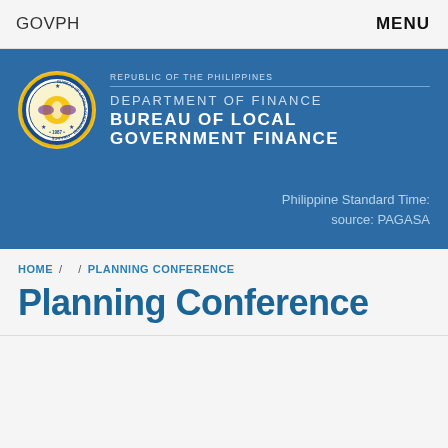GOVPH   MENU
[Figure (logo): Bureau of Local Government Finance logo banner with circular seal on the left and text: REPUBLIC OF THE PHILIPPINES / DEPARTMENT OF FINANCE / BUREAU OF LOCAL GOVERNMENT FINANCE on the right, on a blue background. Bottom right shows: Philippine Standard Time: source: PAGASA]
HOME / / PLANNING CONFERENCE
Planning Conference